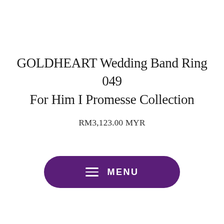GOLDHEART Wedding Band Ring 049 For Him I Promesse Collection
RM3,123.00 MYR
[Figure (other): Purple pill-shaped menu button with hamburger icon and MENU text]